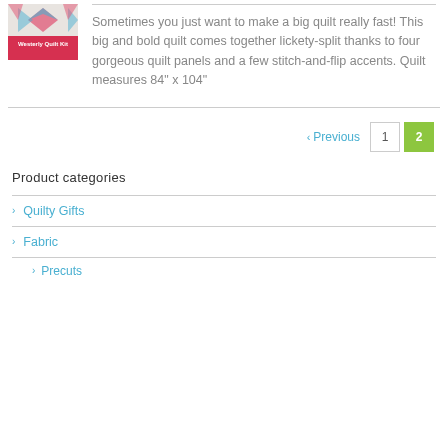[Figure (logo): Westerly Quilt Kit logo with decorative quilt pattern image above a red banner with white text]
Sometimes you just want to make a big quilt really fast! This big and bold quilt comes together lickety-split thanks to four gorgeous quilt panels and a few stitch-and-flip accents. Quilt measures 84" x 104"
< Previous  1  2
Product categories
> Quilty Gifts
> Fabric
> Precuts